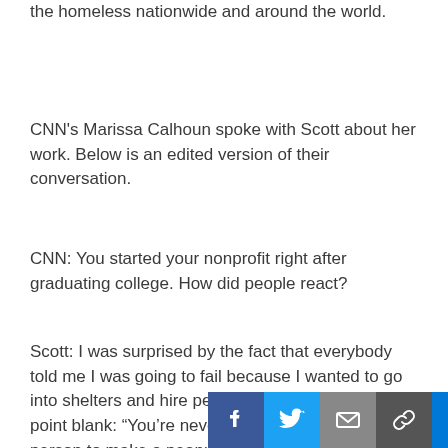the homeless nationwide and around the world.
CNN's Marissa Calhoun spoke with Scott about her work. Below is an edited version of their conversation.
CNN: You started your nonprofit right after graduating college. How did people react?
Scott: I was surprised by the fact that everybody told me I was going to fail because I wanted to go into shelters and hire people. One person said, point blank: “You’re never going to get a homeless person to make a peanut butter and jelly sandwich, let alone a coat. And for me, that
[Figure (infographic): Social media share bar with Facebook, Twitter, Email, Link, and Plus buttons at the bottom right of the page]